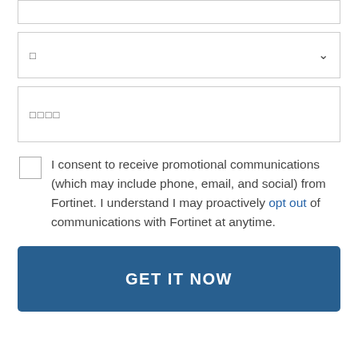[Figure (screenshot): Form input box (top, partially visible)]
[Figure (screenshot): Dropdown/select input box with a small character placeholder and a chevron arrow on the right]
[Figure (screenshot): Text input box with placeholder characters (squares)]
I consent to receive promotional communications (which may include phone, email, and social) from Fortinet. I understand I may proactively opt out of communications with Fortinet at anytime.
[Figure (screenshot): GET IT NOW button — dark blue, bold white uppercase text]